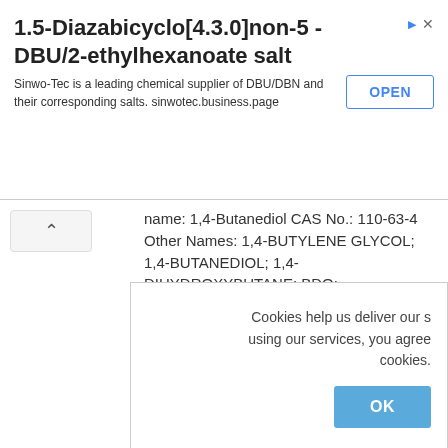[Figure (screenshot): Advertisement banner for Sinwo-Tec chemical supplier featuring 1,5-Diazabicyclo[4.3.0]non-5 - DBU/2-ethylhexanoate salt with an OPEN button and close icon]
name: 1,4-Butanediol CAS No.: 110-63-4 Other Names: 1,4-BUTYLENE GLYCOL; 1,4-BUTANEDIOL; 1,4-DIHYDROXYBUTANE; BDO; BUTANEDIOL, 1,4-; TETRAMETHYLENE GLYCOL; VERSALINK CURATIVE 1,4 BDO MF: C4H10O2 Place of Origin: Hubei, China Purity: 99.8% Application: research
Cookies help us deliver our s using our services, you agree cookies.